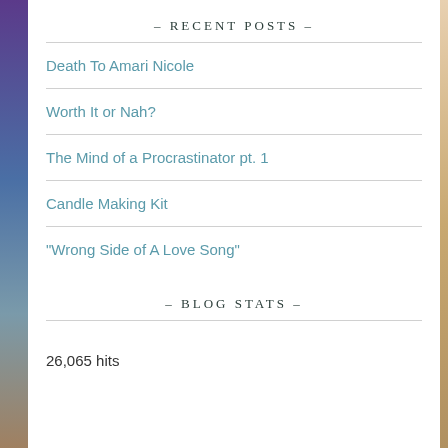– RECENT POSTS –
Death To Amari Nicole
Worth It or Nah?
The Mind of a Procrastinator pt. 1
Candle Making Kit
“Wrong Side of A Love Song”
– BLOG STATS –
26,065 hits